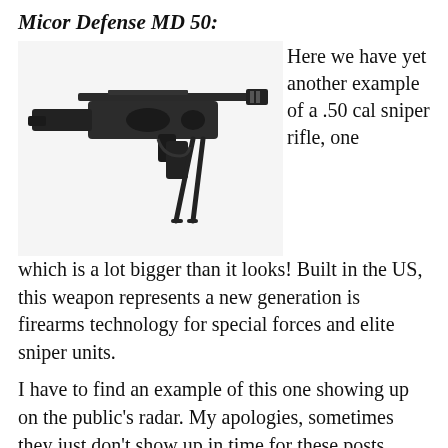Micor Defense MD 50:
[Figure (photo): Photo of the Micor Defense MD 50, a .50 cal sniper rifle with bipod, shown in profile view against a white background.]
Here we have yet another example of a .50 cal sniper rifle, one which is a lot bigger than it looks! Built in the US, this weapon represents a new generation is firearms technology for special forces and elite sniper units.
I have to find an example of this one showing up on the public’s radar. My apologies, sometimes they just don’t show up in time for these posts.
UC -M21:
[Figure (photo): Photo of the UC-M21 submachine gun, a wooden-stocked firearm with a carrying strap, shown in profile view.]
Ever seen a submachine